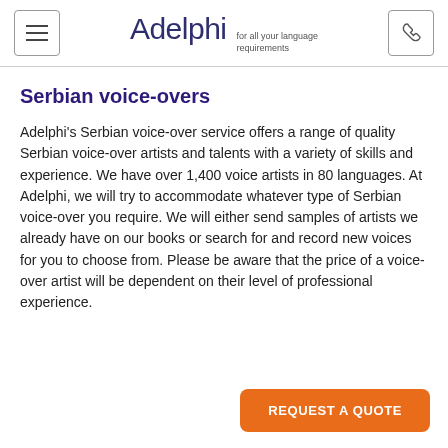Adelphi for all your language requirements
Serbian voice-overs
Adelphi's Serbian voice-over service offers a range of quality Serbian voice-over artists and talents with a variety of skills and experience. We have over 1,400 voice artists in 80 languages. At Adelphi, we will try to accommodate whatever type of Serbian voice-over you require. We will either send samples of artists we already have on our books or search for and record new voices for you to choose from. Please be aware that the price of a voice-over artist will be dependent on their level of professional experience.
REQUEST A QUOTE